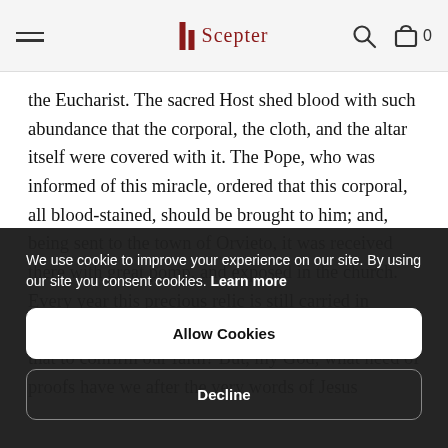Scepter
the Eucharist. The sacred Host shed blood with such abundance that the corporal, the cloth, and the altar itself were covered with it. The Pope, who was informed of this miracle, ordered that this corporal, all blood-stained, should be brought to him; and, being sent to the town of Orvieto, it was received there with great pomp, and exposed in the church. Every year this precious relic is still carried in procession on the feast of Corpus Christi. Ought not that to confirm our faith? But, my God, what need of proofs have we after the very words of Jesus
We use cookie to improve your experience on our site. By using our site you consent cookies. Learn more
Allow Cookies
Decline